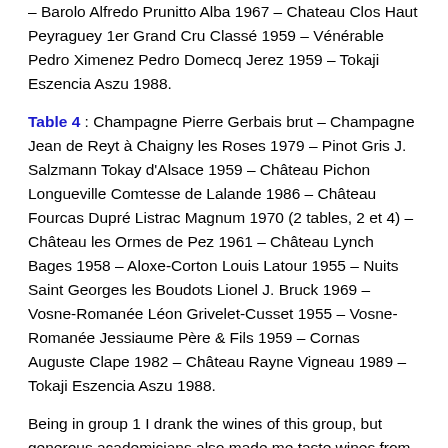– Barolo Alfredo Prunitto Alba 1967 – Chateau Clos Haut Peyraguey 1er Grand Cru Classé 1959 – Vénérable Pedro Ximenez Pedro Domecq Jerez 1959 – Tokaji Eszencia Aszu 1988.
Table 4: Champagne Pierre Gerbais brut – Champagne Jean de Reyt à Chaigny les Roses 1979 – Pinot Gris J. Salzmann Tokay d'Alsace 1959 – Château Pichon Longueville Comtesse de Lalande 1986 – Château Fourcas Dupré Listrac Magnum 1970 (2 tables, 2 et 4) – Château les Ormes de Pez 1961 – Château Lynch Bages 1958 – Aloxe-Corton Louis Latour 1955 – Nuits Saint Georges les Boudots Lionel J. Bruck 1969 – Vosne-Romanée Léon Grivelet-Cusset 1955 – Vosne-Romanée Jessiaume Père & Fils 1959 – Cornas Auguste Clape 1982 – Château Rayne Vigneau 1989 – Tokaji Eszencia Aszu 1988.
Being in group 1 I drank the wines of this group, but generous academicians also made me taste wines from their table. The menu provided by the restaurant is: grilled mackerel, scallions and shallots confit with olive oil /